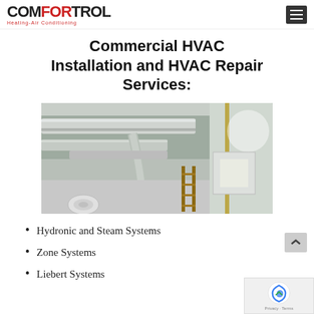[Figure (logo): Comfortrol Heating-Air Conditioning logo with red and black text]
Commercial HVAC Installation and HVAC Repair Services:
[Figure (photo): Commercial HVAC installation photo showing insulated ductwork and flexible ducts on a ceiling inside a commercial building under construction]
Hydronic and Steam Systems
Zone Systems
Liebert Systems